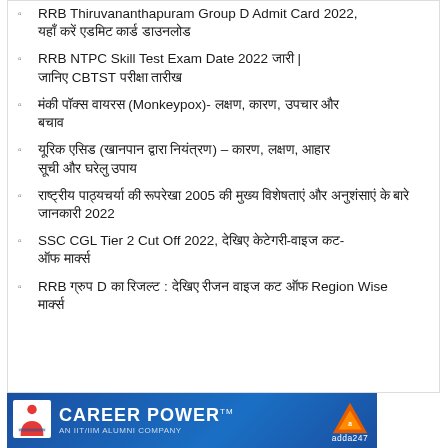RRB Thiruvananthapuram Group D Admit Card 2022, यहाँ करें एडमिट कार्ड डाउनलोड
RRB NTPC Skill Test Exam Date 2022 जारी | जानिए CBTST परीक्षा तारीख
मंकी पॉक्स वायरस (Monkeypox)- लक्षण, कारण, उपचार और बचाव
यूरिक एसिड (खानपान द्वारा नियंत्रण) – कारण, लक्षण, आहार सूची और घरेलु उपाय
राष्ट्रीय पाठ्यचर्या की रूपरेखा 2005 की मुख्य विशेषताएं और अनुशंसाएं के बारे जानकारी 2022
SSC CGL Tier 2 Cut Off 2022, देखिए केटेगरी-वाइज कट-ऑफ मार्क्स
RRB ग्रुप D का रिजल्ट : देखिए रीजन वाइज कट ऑफ Region Wise मार्क्स
[Figure (logo): Career Power banner - AN IIT/IIM ALUMNI COMPANY with adda247 logo on blue background]